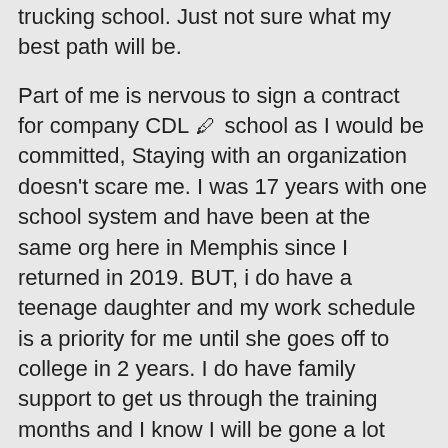trucking school. Just not sure what my best path will be.
Part of me is nervous to sign a contract for company CDL 🖊 school as I would be committed, Staying with an organization doesn't scare me. I was 17 years with one school system and have been at the same org here in Memphis since I returned in 2019. BUT, i do have a teenage daughter and my work schedule is a priority for me until she goes off to college in 2 years. I do have family support to get us through the training months and I know I will be gone a lot during that time. However, I would need to secure something after training that had me home frequently, if not most days. How likely is that? After two years, when she goes to college, I can go out for weeks at a time and would love to. But she needs me around often now.